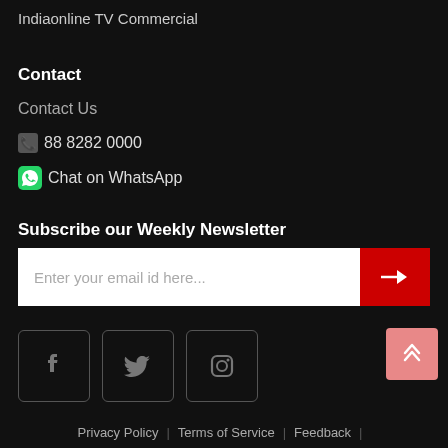Indiaonline TV Commercial
Contact
Contact Us
88 8282 0000
Chat on WhatsApp
Subscribe our Weekly Newsletter
Enter your email id here...
[Figure (other): Social media icon buttons: Facebook, Twitter, Instagram]
[Figure (other): Back to top button with double chevron up arrow]
Privacy Policy | Terms of Service | Feedback |